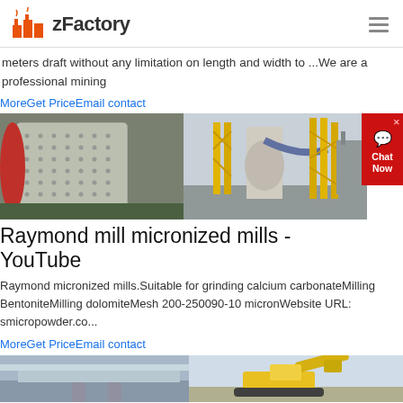zFactory
meters draft without any limitation on length and width to ...We are a professional mining
MoreGet PriceEmail contact
[Figure (photo): Two industrial mining/milling machines: left shows a large ball mill drum with studded surface, right shows a vertical mill tower with yellow scaffolding structures at an industrial facility.]
Raymond mill micronized mills - YouTube
Raymond micronized mills.Suitable for grinding calcium carbonateMilling BentoniteMilling dolomiteMesh 200-250090-10 micronWebsite URL: smicropowder.co...
MoreGet PriceEmail contact
[Figure (photo): Two outdoor industrial equipment images at bottom of page, partially visible: left shows a concrete/bridge structure, right shows a yellow excavator or heavy equipment.]